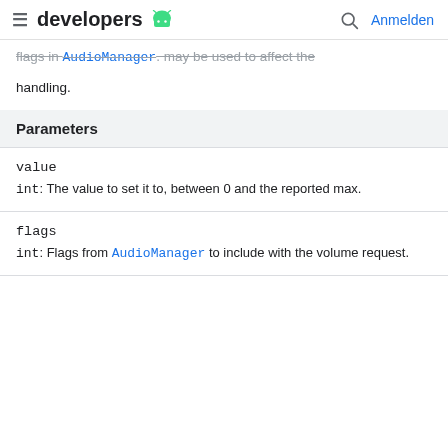developers  Anmelden
flags in AudioManager. May be used to affect the handling.
| Parameters |
| --- |
| value |
| int: The value to set it to, between 0 and the reported max. |
| flags |
| int: Flags from AudioManager to include with the volume request. |